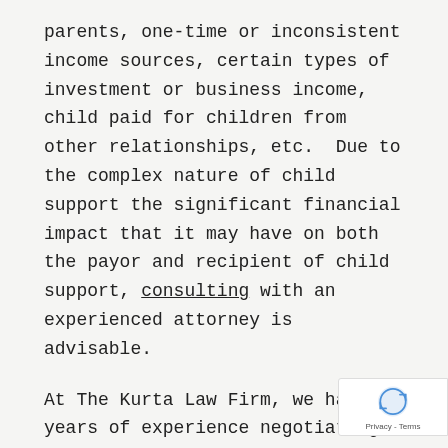parents, one-time or inconsistent income sources, certain types of investment or business income, child paid for children from other relationships, etc.  Due to the complex nature of child support the significant financial impact that it may have on both the payor and recipient of child support, consulting with an experienced attorney is advisable.
At The Kurta Law Firm, we have years of experience negotiating, enforcing, and modifying child support orders. Whether you are looking to negotiate a new child support agreement or to enforce or modi...